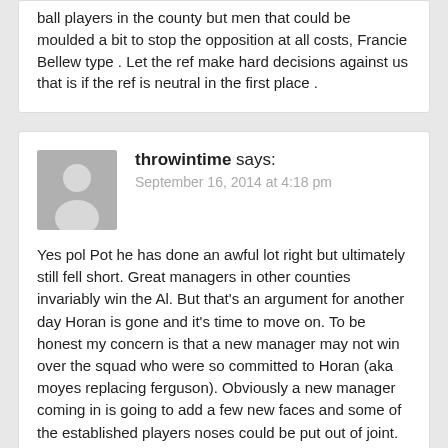ball players in the county but men that could be moulded a bit to stop the opposition at all costs, Francie Bellew type . Let the ref make hard decisions against us that is if the ref is neutral in the first place .
throwintime says:
September 16, 2014 at 4:18 pm
Yes pol Pot he has done an awful lot right but ultimately still fell short. Great managers in other counties invariably win the Al. But that's an argument for another day Horan is gone and it's time to move on. To be honest my concern is that a new manager may not win over the squad who were so committed to Horan (aka moyes replacing ferguson). Obviously a new manager coming in is going to add a few new faces and some of the established players noses could be put out of joint. Need a strong personality going in there